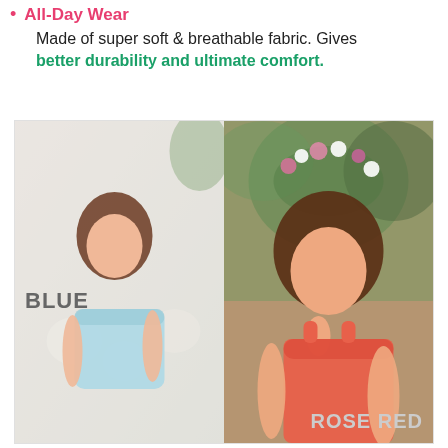All-Day Wear
Made of super soft & breathable fabric. Gives better durability and ultimate comfort.
[Figure (photo): Two product photos side by side showing women wearing bras. Left photo: woman in light blue bra labeled 'BLUE'. Right photo: woman in rose red/coral bra with floral crown labeled 'ROSE RED'.]